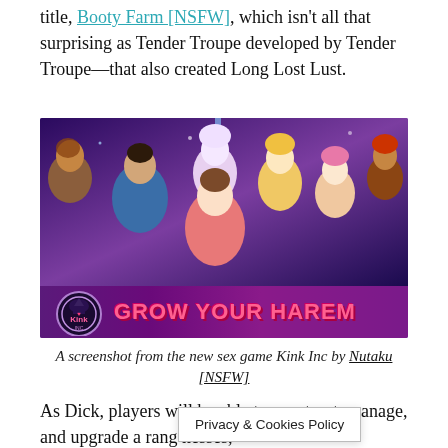title, Booty Farm [NSFW], which isn't all that surprising as Tender Troupe developed by Tender Troupe—that also created Long Lost Lust.
[Figure (screenshot): Screenshot from the sex game Kink Inc showing animated characters with text 'GROW YOUR HAREM' and Kink Inc logo at the bottom.]
A screenshot from the new sex game Kink Inc by Nutaku [NSFW]
As Dick, players will be able to construct, manage, and upgrade a rang nesses,
Privacy & Cookies Policy